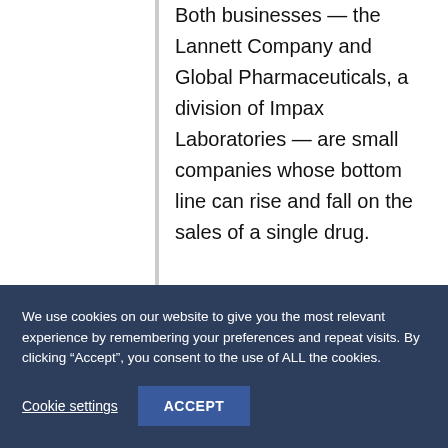Both businesses — the Lannett Company and Global Pharmaceuticals, a division of Impax Laboratories — are small companies whose bottom line can rise and fall on the sales of a single drug. Then this January, the Swiss manufacturer Covis began selling an “authorized generic.” Such
We use cookies on our website to give you the most relevant experience by remembering your preferences and repeat visits. By clicking “Accept”, you consent to the use of ALL the cookies.
Cookie settings
ACCEPT